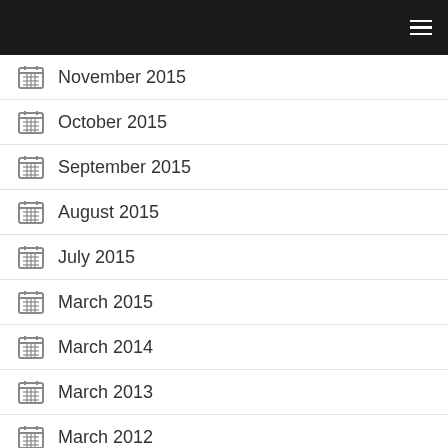November 2015
October 2015
September 2015
August 2015
July 2015
March 2015
March 2014
March 2013
March 2012
March 2011
March 2008
March 2006
March 2005